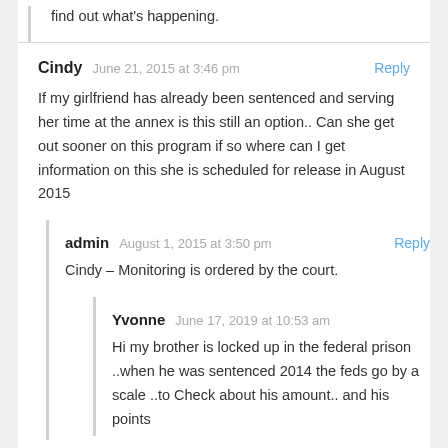find out what's happening.
Cindy   June 21, 2015 at 3:46 pm   Reply
If my girlfriend has already been sentenced and serving her time at the annex is this still an option.. Can she get out sooner on this program if so where can I get information on this she is scheduled for release in August 2015
admin   August 1, 2015 at 3:50 pm   Reply
Cindy – Monitoring is ordered by the court.
Yvonne   June 17, 2019 at 10:53 am
Hi my brother is locked up in the federal prison ..when he was sentenced 2014 the feds go by a scale ..to Check about his amount.. and his points